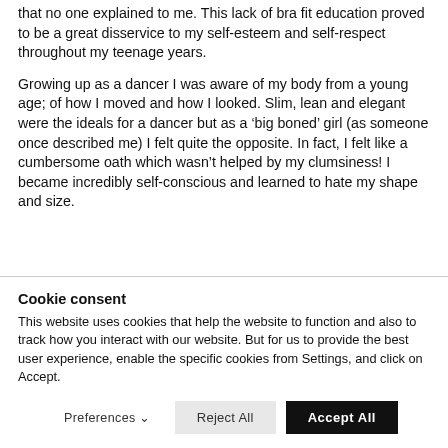that no one explained to me. This lack of bra fit education proved to be a great disservice to my self-esteem and self-respect throughout my teenage years.
Growing up as a dancer I was aware of my body from a young age; of how I moved and how I looked. Slim, lean and elegant were the ideals for a dancer but as a 'big boned' girl (as someone once described me) I felt quite the opposite. In fact, I felt like a cumbersome oath which wasn't helped by my clumsiness! I became incredibly self-conscious and learned to hate my shape and size.
Cookie consent
This website uses cookies that help the website to function and also to track how you interact with our website. But for us to provide the best user experience, enable the specific cookies from Settings, and click on Accept.